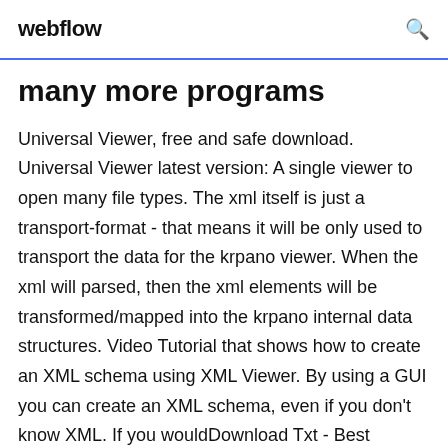webflow
many more programs
Universal Viewer, free and safe download. Universal Viewer latest version: A single viewer to open many file types. The xml itself is just a transport-format - that means it will be only used to transport the data for the krpano viewer. When the xml will parsed, then the xml elements will be transformed/mapped into the krpano internal data structures. Video Tutorial that shows how to create an XML schema using XML Viewer. By using a GUI you can create an XML schema, even if you don't know XML. If you wouldDownload Txt - Best Software & Appshttps://en.softonic.com/downloads/txtDownload